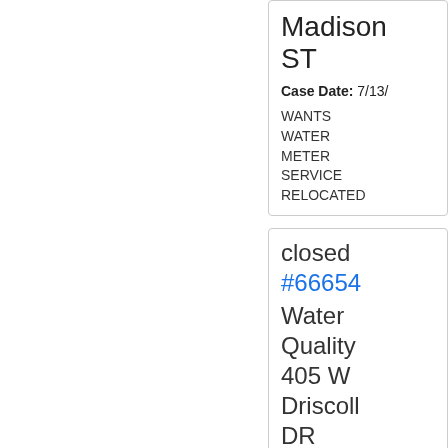Madison ST
Case Date: 7/13/
WANTS WATER METER SERVICE RELOCATED
closed
#66654
Water Quality 405 W Driscoll DR